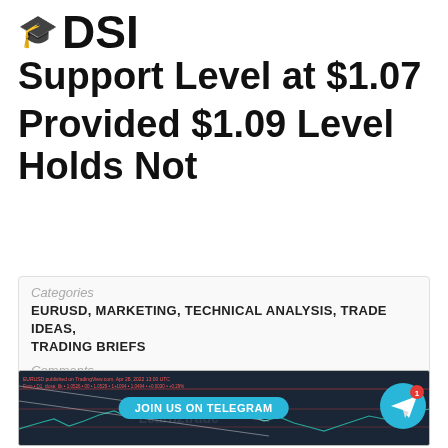🎓DSI Support Level at $1.07 Provided $1.09 Level Holds Not
Categories
EURUSD, MARKETING, TECHNICAL ANALYSIS, TRADE IDEAS, TRADING BRIEFS
Comments
0 COMMENT
[Figure (screenshot): Financial chart screenshot with a 'JOIN US ON TELEGRAM' button overlay and Telegram icon with notification badge. The chart appears to be a candlestick/line chart for EURUSD with a Learn2Trade watermark.]